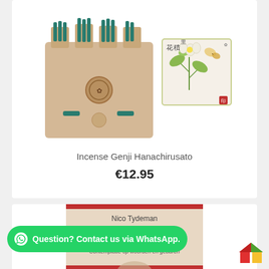[Figure (photo): Incense Genji Hanachirusato product — two items: a kraft paper box with teal incense sticks and a white illustrated box with Japanese calligraphy and botanical illustration]
Incense Genji Hanachirusato
€12.95
[Figure (photo): Partial view of book cover: KOAN by Nico Tydeman, subtitle Contemplatie op woorden en gebaren, beige/cream cover with red spine detail]
Question? Contact us via WhatsApp.
[Figure (logo): Colorful house/book logo in bottom right corner]